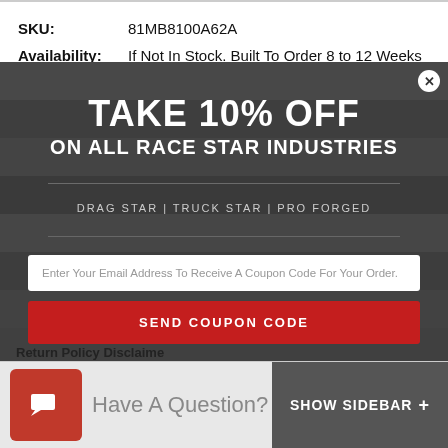SKU: 81MB8100A62A
Availability: If Not In Stock. Built To Order 8 to 12 Weeks
[Figure (screenshot): Promotional popup overlay on a dark wood-textured background offering 10% off on all Race Star Industries products (Drag Star, Truck Star, Pro Forged). Includes email input field for coupon code, a red 'SEND COUPON CODE' button, disclaimer text about contact and expiry 8/31/22, and a 'Close Popup' link. A close (X) button is in the top right corner.]
TAKE 10% OFF
ON ALL RACE STAR INDUSTRIES
DRAG STAR | TRUCK STAR | PRO FORGED
Enter Your Email Address To Receive A Coupon Code For Your Order.
SEND COUPON CODE
If you do not receive a coupon code via email. Contact Us. Offer excludes select brands. Expires 8/31/22
Close Popup
Have A Question?
Return Policy Disclaimer
SHOW SIDEBAR +